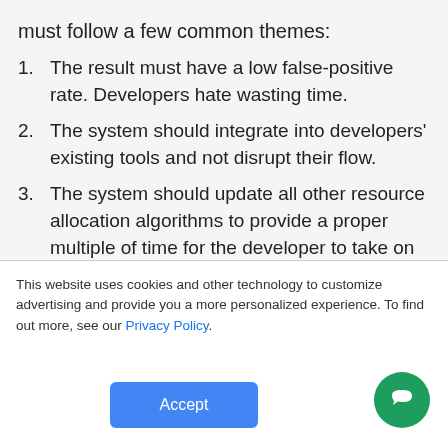must follow a few common themes:
The result must have a low false-positive rate. Developers hate wasting time.
The system should integrate into developers' existing tools and not disrupt their flow.
The system should update all other resource allocation algorithms to provide a proper multiple of time for the developer to take on new security tasks.
It must have a defined, measurable return on investment.
The answer has something for developers as well as the
This website uses cookies and other technology to customize advertising and provide you a more personalized experience. To find out more, see our Privacy Policy.